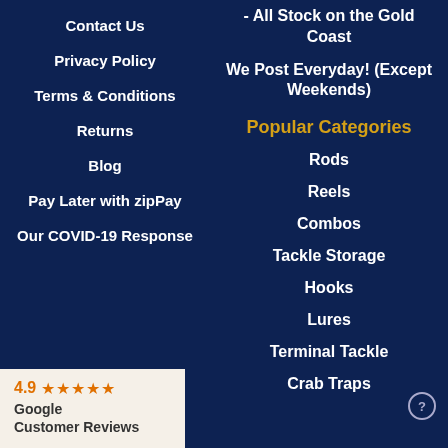Contact Us
Privacy Policy
Terms & Conditions
Returns
Blog
Pay Later with zipPay
Our COVID-19 Response
- All Stock on the Gold Coast
We Post Everyday! (Except Weekends)
Popular Categories
Rods
Reels
Combos
Tackle Storage
Hooks
Lures
Terminal Tackle
Crab Traps
4.9 ★★★★★ Google Customer Reviews